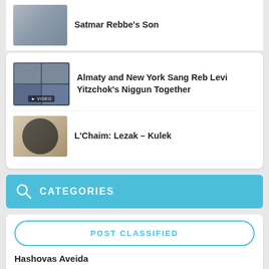Satmar Rebbe's Son
Almaty and New York Sang Reb Levi Yitzchok's Niggun Together
L'Chaim: Lezak – Kulek
CATEGORIES
POST CLASSIFIED
Hashovas Aveida
Clothing (0)
Jewelry (2)